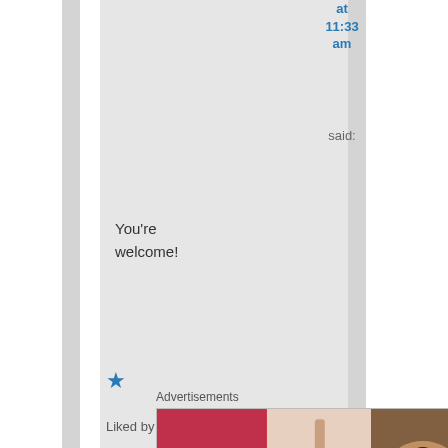at 11:33 am
said:
You're welcome!
★ Liked by 1
[Figure (illustration): White popup box with avatar thumbnail showing a teal/green brush/leaf design for Yoshiko]
Yoshiko on June 19, 2015 at 2:05 am
Advertisements
[Figure (photo): Advertisement banner showing beauty/makeup images including lips with lipstick, makeup brush, eye with eyebrow, ULTA logo, another eye close-up, and SHOP NOW text]